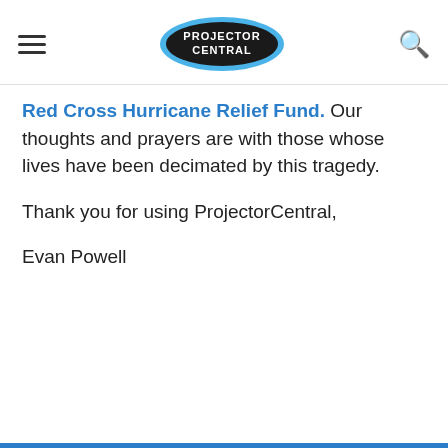PROJECTOR CENTRAL
Red Cross Hurricane Relief Fund. Our thoughts and prayers are with those whose lives have been decimated by this tragedy.
Thank you for using ProjectorCentral,
Evan Powell